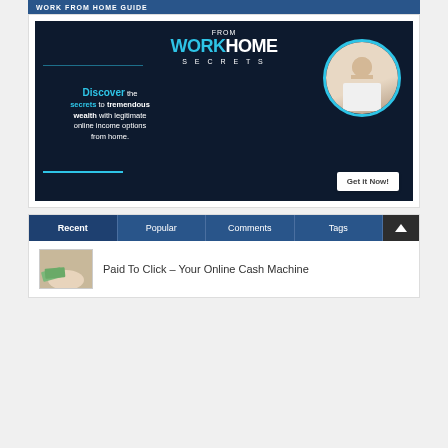[Figure (illustration): Work From Home Secrets advertisement banner with dark navy background, logo at top, tagline 'Discover the secrets to tremendous wealth with legitimate online income options from home.', circular photo of woman with headset, and 'Get it Now!' button]
[Figure (screenshot): Navigation tabs bar with Recent (active), Popular, Comments, Tags tabs on blue background, with dark scroll-to-top arrow button]
Paid To Click – Your Online Cash Machine